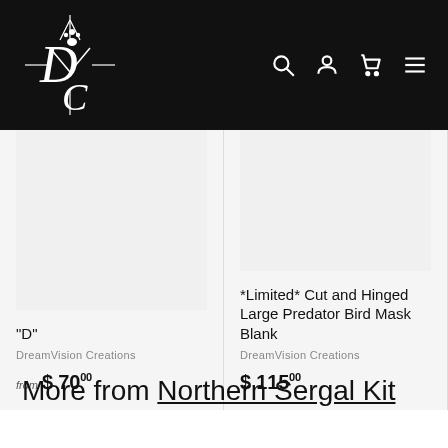[Figure (logo): DreamVision Creations logo — stylized D and C letters with paw print, white on black background]
"D"
DreamVision Creations
from $70.00
*Limited* Cut and Hinged Large Predator Bird Mask Blank
DreamVision Creations
$115.00
*limite... Hinged... Feline...
DreamV...
$130
More from Northern Sergal Kit